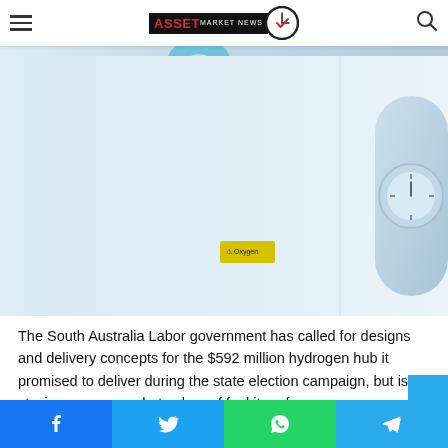Asset Market News
[Figure (photo): Close-up of a light-blue hydrogen storage tank/cylinder with large teal '2' character visible and a pressure gauge on the right side, with a small yellow hazard label in the center.]
The South Australia Labor government has called for designs and delivery concepts for the $592 million hydrogen hub it promised to deliver during the state election campaign, but is staying vague on what colour of fuel it prefers.